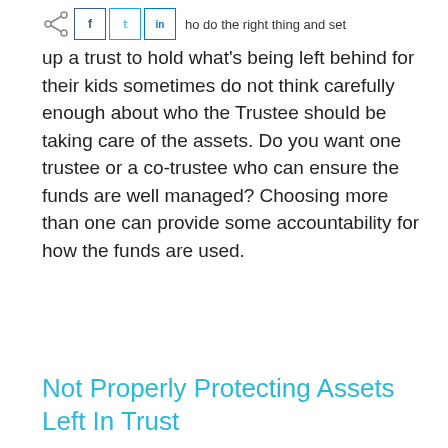Everyone who do the right thing and set
up a trust to hold what's being left behind for their kids sometimes do not think carefully enough about who the Trustee should be taking care of the assets. Do you want one trustee or a co-trustee who can ensure the funds are well managed? Choosing more than one can provide some accountability for how the funds are used.
Not Properly Protecting Assets Left In Trust
Another mistake parents make when setting up a trust is distributing the assets out of the